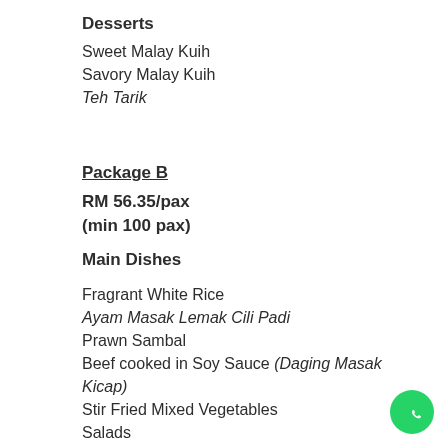Desserts
Sweet Malay Kuih
Savory Malay Kuih
Teh Tarik
Package B
RM 56.35/pax
(min 100 pax)
Main Dishes
Fragrant White Rice
Ayam Masak Lemak Cili Padi
Prawn Sambal
Beef cooked in Soy Sauce (Daging Masak Kicap)
Stir Fried Mixed Vegetables
Salads
Sambal Belacan